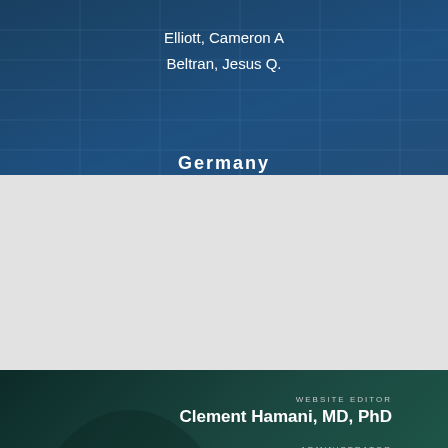Elliott, Cameron A
Beltran, Jesus Q.
Germany
WEBSITE EDITOR
Clement Hamani, MD, PhD
ADMINISTRATOR
Melody Dian
WEBDESIGN
Danilo Barbosa, MD
(C) World Society for Stereotactic and Functional Neurosurgery.
All Right Reserved.